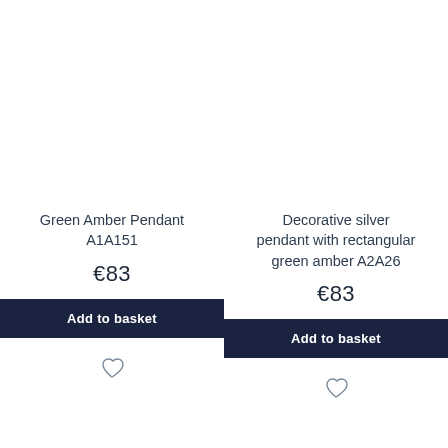Green Amber Pendant A1A151
€83
Add to basket
Decorative silver pendant with rectangular green amber A2A26
€83
Add to basket